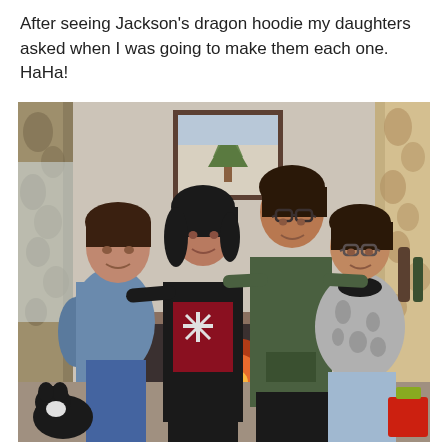After seeing Jackson's dragon hoodie my daughters asked when I was going to make them each one. HaHa!
[Figure (photo): Four women standing together with arms around each other in a living room. From left to right: woman in blue/grey sweatshirt, woman in black jacket with holiday sweater, taller woman with glasses in green hoodie, woman with glasses in grey patterned sweatshirt. There is a fireplace in the background, a framed picture on the wall, curtains on both sides, and a cat visible at the bottom left.]